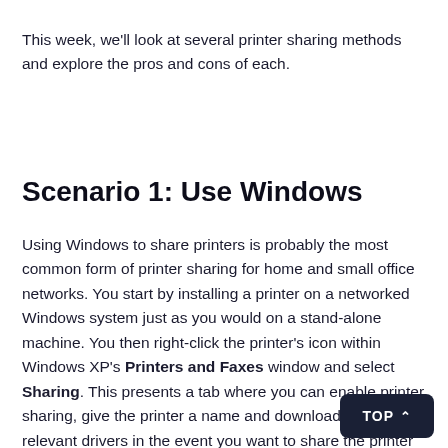This week, we'll look at several printer sharing methods and explore the pros and cons of each.
Scenario 1: Use Windows
Using Windows to share printers is probably the most common form of printer sharing for home and small office networks. You start by installing a printer on a networked Windows system just as you would on a stand-alone machine. You then right-click the printer's icon within Windows XP's Printers and Faxes window and select Sharing. This presents a tab where you can enable printer sharing, give the printer a name and download the relevant drivers in the event you want to share the printer between systems running